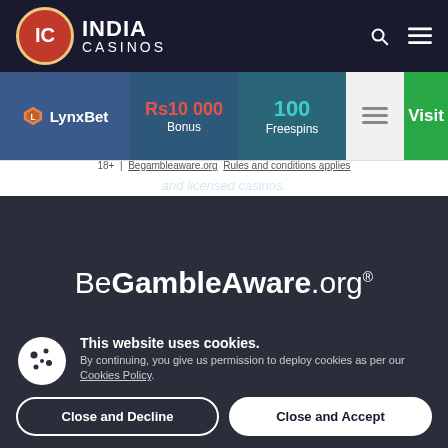India Casinos
[Figure (screenshot): LynxBet casino promotional card with Rs10 000 Bonus, 100 Freespins, and Visit button]
18+ | Begambleaware.org Rules and conditions applies
and licensed casinos.
[Figure (logo): BeGambleAware.org logo in white on dark background]
[Figure (logo): eCOGRA and RGC logos in white on dark background]
This website uses cookies. By continuing, you give us permission to deploy cookies as per our Cookies Policy.
Close and Decline
Close and Accept